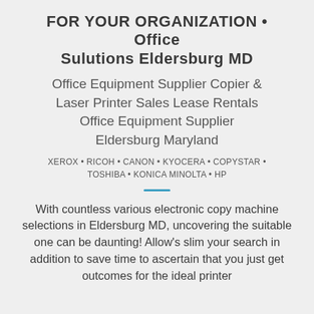FOR YOUR ORGANIZATION • Office Sulutions Eldersburg MD
Office Equipment Supplier Copier & Laser Printer Sales Lease Rentals Office Equipment Supplier Eldersburg Maryland
XEROX • RICOH • CANON • KYOCERA • COPYSTAR • TOSHIBA • KONICA MINOLTA • HP
With countless various electronic copy machine selections in Eldersburg MD, uncovering the suitable one can be daunting! Allow's slim your search in addition to save time to ascertain that you just get outcomes for the ideal printer